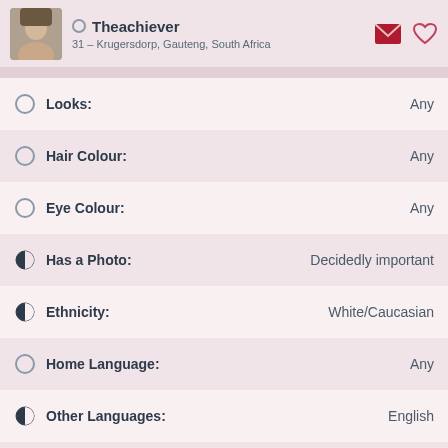Theachiever
31 – Krugersdorp, Gauteng, South Africa
Looks: Any
Hair Colour: Any
Eye Colour: Any
Has a Photo: Decidedly important
Ethnicity: White/Caucasian
Home Language: Any
Other Languages: English
Religion: Any